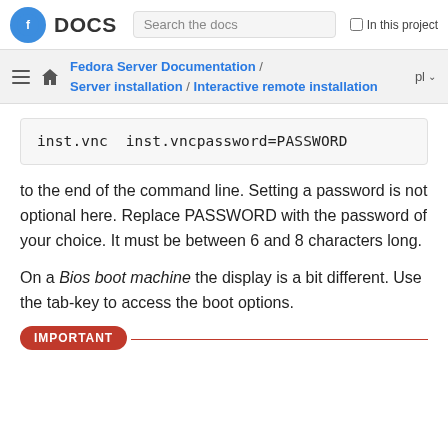Fedora DOCS — Search the docs — In this project
Fedora Server Documentation / Server installation / Interactive remote installation — pl
inst.vnc  inst.vncpassword=PASSWORD
to the end of the command line. Setting a password is not optional here. Replace PASSWORD with the password of your choice. It must be between 6 and 8 characters long.
On a Bios boot machine the display is a bit different. Use the tab-key to access the boot options.
IMPORTANT